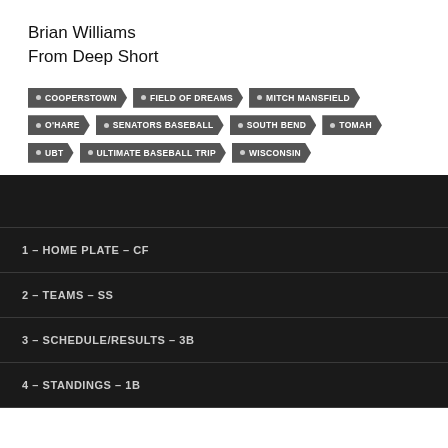Brian Williams
From Deep Short
COOPERSTOWN
FIELD OF DREAMS
MITCH MANSFIELD
O'HARE
SENATORS BASEBALL
SOUTH BEND
TOMAH
UBT
ULTIMATE BASEBALL TRIP
WISCONSIN
1 – HOME PLATE – CF
2 – TEAMS – SS
3 – SCHEDULE/RESULTS – 3B
4 – STANDINGS – 1B